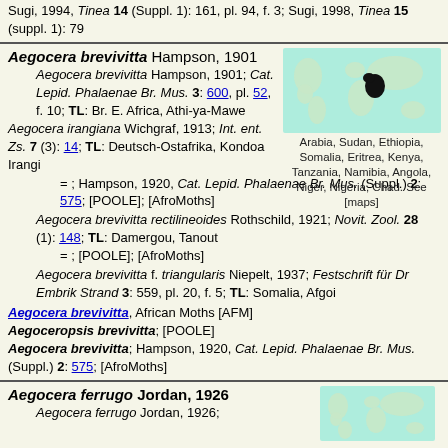Sugi, 1994, Tinea 14 (Suppl. 1): 161, pl. 94, f. 3; Sugi, 1998, Tinea 15 (suppl. 1): 79
Aegocera brevivitta Hampson, 1901
[Figure (map): World map showing distribution in Africa/Arabia region with black shading]
Arabia, Sudan, Ethiopia, Somalia, Eritrea, Kenya, Tanzania, Namibia, Angola, Niger, Nigeria, Chad. See [maps]
Aegocera brevivitta Hampson, 1901; Cat. Lepid. Phalaenae Br. Mus. 3: 600, pl. 52, f. 10; TL: Br. E. Africa, Athi-ya-Mawe
Aegocera irangiana Wichgraf, 1913; Int. ent. Zs. 7 (3): 14; TL: Deutsch-Ostafrika, Kondoa Irangi
= ; Hampson, 1920, Cat. Lepid. Phalaenae Br. Mus. (Suppl.) 2: 575; [POOLE]; [AfroMoths]
Aegocera brevivitta rectilineoides Rothschild, 1921; Novit. Zool. 28 (1): 148; TL: Damergou, Tanout
= ; [POOLE]; [AfroMoths]
Aegocera brevivitta f. triangularis Niepelt, 1937; Festschrift für Dr Embrik Strand 3: 559, pl. 20, f. 5; TL: Somalia, Afgoi
Aegocera brevivitta, African Moths [AFM]
Aegoceropsis brevivitta; [POOLE]
Aegocera brevivitta; Hampson, 1920, Cat. Lepid. Phalaenae Br. Mus. (Suppl.) 2: 575; [AfroMoths]
Aegocera ferrugo Jordan, 1926
Aegocera ferrugo Jordan, 1926;